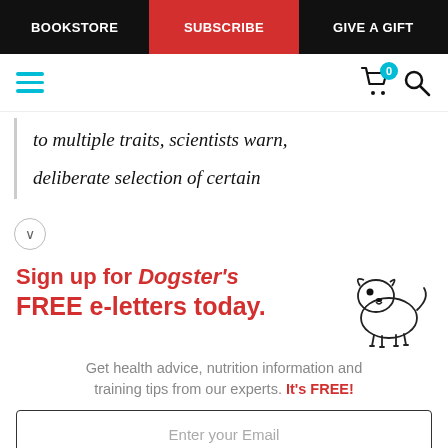BOOKSTORE | SUBSCRIBE | GIVE A GIFT
[Figure (screenshot): Navigation toolbar with hamburger menu icon in teal, shopping cart icon with badge showing 0, and search icon]
to multiple traits, scientists warn, deliberate selection of certain
[Figure (infographic): Sign up for Dogster's FREE e-letters today. Get health advice, nutrition information and training tips from our experts. It's FREE! With cartoon dog illustration. Email input field and YES! SIGN ME UP button.]